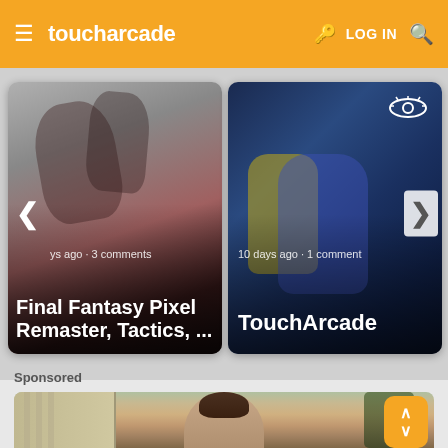toucharcade — LOG IN
[Figure (screenshot): Left article card showing Final Fantasy Pixel Remaster, Tactics, ... with blurred game art background, metadata 'ys ago · 3 comments']
[Figure (screenshot): Right article card showing TouchArcade with blue game character scene, metadata '10 days ago · 1 comment']
Sponsored
[Figure (photo): Sponsored content showing a smiling woman with brown hair outdoors]